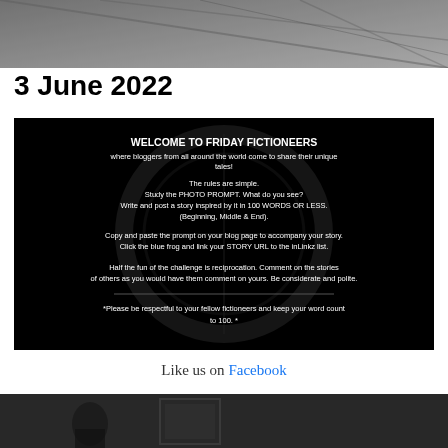[Figure (photo): Black and white photo showing geometric ceiling or architectural lines, partially visible at top of page]
3 June 2022
[Figure (infographic): Black background image with white text: WELCOME TO FRIDAY FICTIONEERS where bloggers from all around the world come to share their unique tales! The rules are simple. Study the PHOTO PROMPT. What do you see? Write and post a story inspired by it in 100 WORDS OR LESS. (Beginning, Middle & End). Copy and paste the prompt on your blog page to accompany your story. Click the blue frog and link your STORY URL to the inLinkz list. Half the fun of the challenge is reciprocation. Comment on the stories of others as you would have them comment on yours. Be considerate and polite. *Please be respectful to your fellow fictioneers and keep your word count to 100.*]
Like us on Facebook
[Figure (photo): Black and white photo showing a person or figure near a window or doorway, cropped at bottom]